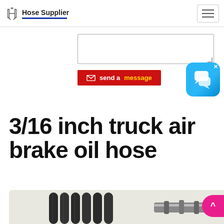Hose Supplier
[Figure (screenshot): Textarea input box for sending a message]
[Figure (other): Red 'send a message' button with envelope icon and yellow text highlight]
[Figure (other): Blue chat bubble widget icon with X close button]
3/16 inch truck air brake oil hose
[Figure (photo): Product photo showing truck air brake hoses/tubes]